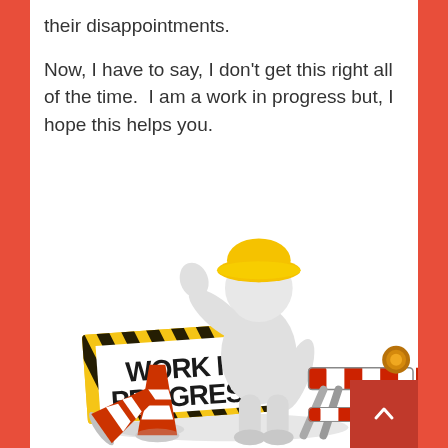their disappointments.
Now, I have to say, I don't get this right all of the time.  I am a work in progress but, I hope this helps you.
[Figure (illustration): A 3D cartoon figure wearing a yellow hard hat, waving one hand and holding a red-and-white striped barrier. A yellow-and-black striped 'WORK IN PROGRESS' sign is on the left, with two red-and-white traffic cones at the bottom. An orange warning light is on top of the barrier.]